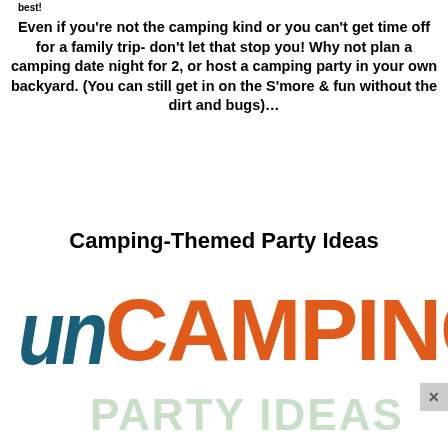best!
Even if you’re not the camping kind or you can’t get time off for a family trip- don’t let that stop you!  Why not plan a camping date night for 2, or host a camping party in your own backyard. (You can still get in on the S’more & fun without the dirt and bugs)…
Camping-Themed Party Ideas
[Figure (logo): UnCamping Party Ideas logo with 'un' in dark teal italic large letters and 'CAMPING' in large orange bold letters, with 'PARTY IDEAS' in light green below]